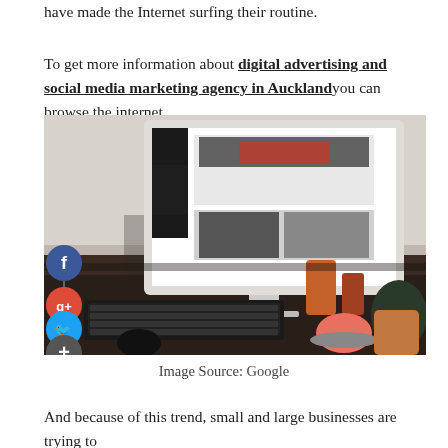have made the Internet surfing their routine.
To get more information about digital advertising and social media marketing agency in Auckland you can browse the internet.
[Figure (photo): A desk scene with a computer monitor displaying images, a keyboard, mouse, and various objects. Social media share buttons (Facebook, Google+, Twitter, plus) overlaid on the left side.]
Image Source: Google
And because of this trend, small and large businesses are trying to